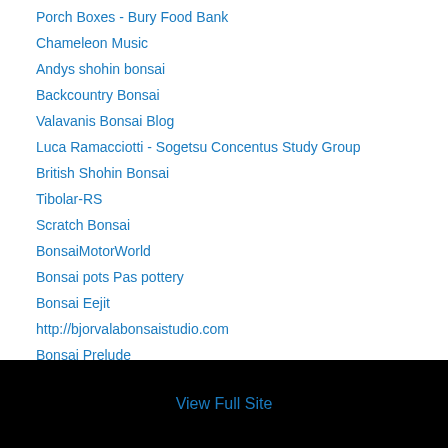Porch Boxes - Bury Food Bank
Chameleon Music
Andys shohin bonsai
Backcountry Bonsai
Valavanis Bonsai Blog
Luca Ramacciotti - Sogetsu Concentus Study Group
British Shohin Bonsai
Tibolar-RS
Scratch Bonsai
BonsaiMotorWorld
Bonsai pots Pas pottery
Bonsai Eejit
http://bjorvalabonsaistudio.com
Bonsai Prelude
GreatDivideBonsai
View Full Site